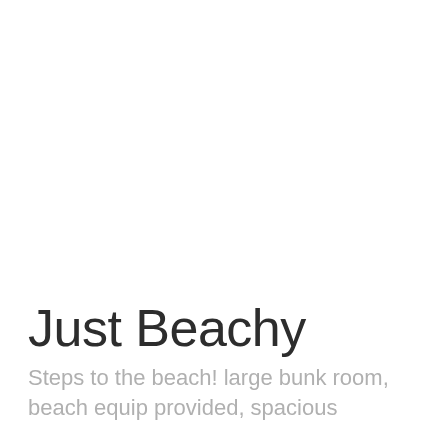Just Beachy
Steps to the beach! large bunk room, beach equip provided, spacious